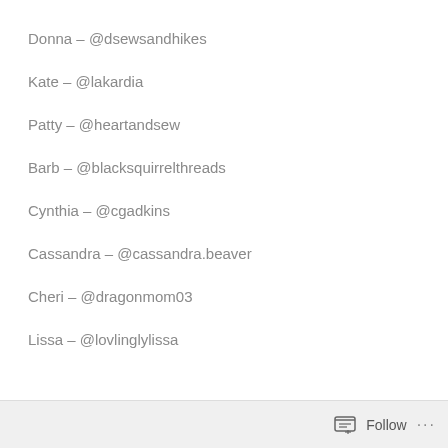Donna – @dsewsandhikes
Kate – @lakardia
Patty – @heartandsew
Barb – @blacksquirrelthreads
Cynthia – @cgadkins
Cassandra – @cassandra.beaver
Cheri – @dragonmom03
Lissa – @lovlinglylissa
Follow ...